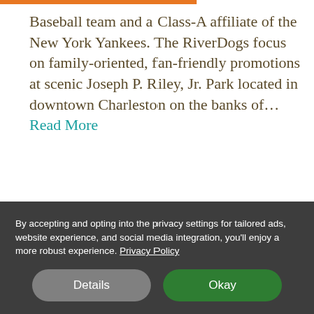Baseball team and a Class-A affiliate of the New York Yankees. The RiverDogs focus on family-oriented, fan-friendly promotions at scenic Joseph P. Riley, Jr. Park located in downtown Charleston on the banks of... Read More
[Figure (illustration): Small red illustrated tower/steeple icon]
By accepting and opting into the privacy settings for tailored ads, website experience, and social media integration, you'll enjoy a more robust experience. Privacy Policy
Details   Okay